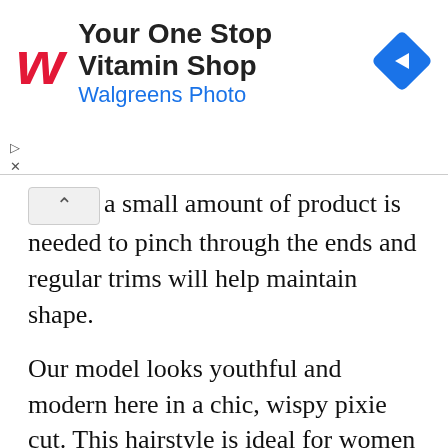[Figure (advertisement): Walgreens advertisement banner with red stylized W logo, text 'Your One Stop Vitamin Shop' in bold, 'Walgreens Photo' in blue, and a blue diamond navigation icon on the right.]
a small amount of product is needed to pinch through the ends and regular trims will help maintain shape.
Our model looks youthful and modern here in a chic, wispy pixie cut. This hairstyle is ideal for women who want a short â€˜do but also want something stylish and trendy, not to mention quick and easy to style. The longer layers on the top and sides create a nice frame for our modelâ€™s face and allows her natural texture to come through and give this â€˜do some body and volume. She has an